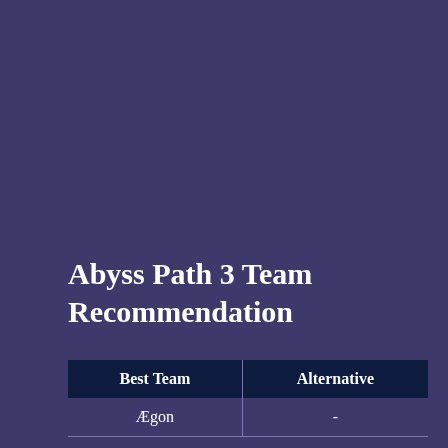Abyss Path 3 Team Recommendation
| Best Team | Alternative |
| --- | --- |
| Ægon | - |